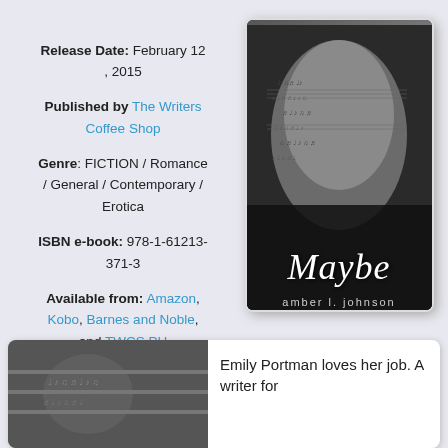Release Date: February 12, 2015
Published by The Writers Coffee Shop
Genre: FICTION / Romance / General / Contemporary / Erotica
ISBN e-book: 978-1-61213-371-3
Available from: Amazon, Kobo, Barnes and Noble, and TWCS PH
[Figure (photo): Book cover of 'Maybe' by amber l. johnson — black and white photo of a person's back with sheet music printed on skin, title in italic white script, author name below]
~~SUMMARY~~
[Figure (photo): Black and white photo, likely the same book cover image cropped]
Emily Portman loves her job. A writer for